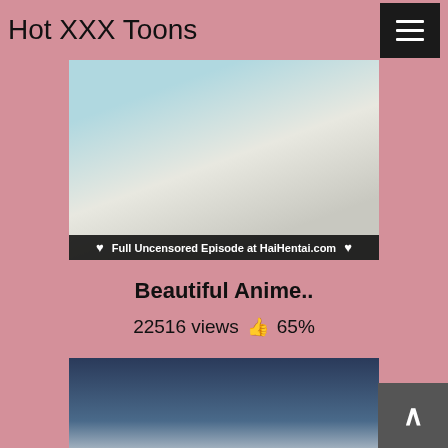Hot XXX Toons
[Figure (screenshot): Anime/hentai screenshot with overlay bar reading: Full Uncensored Episode at HaiHentai.com]
Beautiful Anime..
22516 views 👍 65%
[Figure (screenshot): Anime/hentai screenshot showing female character from behind]